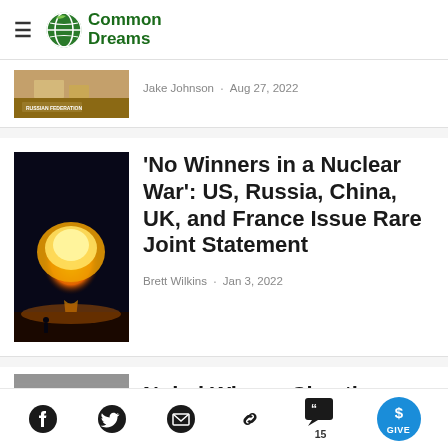Common Dreams
Jake Johnson · Aug 27, 2022
'No Winners in a Nuclear War': US, Russia, China, UK, and France Issue Rare Joint Statement
Brett Wilkins · Jan 3, 2022
Nobel Winner Chastises
Social icons: Facebook, Twitter, Email, Link, Comments (15), GIVE